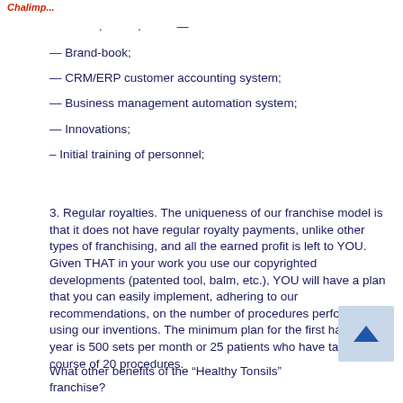Chalimp...
— Brand-book;
— CRM/ERP customer accounting system;
— Business management automation system;
— Innovations;
– Initial training of personnel;
3. Regular royalties. The uniqueness of our franchise model is that it does not have regular royalty payments, unlike other types of franchising, and all the earned profit is left to YOU. Given THAT in your work you use our copyrighted developments (patented tool, balm, etc.), YOU will have a plan that you can easily implement, adhering to our recommendations, on the number of procedures performed using our inventions. The minimum plan for the first half of the year is 500 sets per month or 25 patients who have taken a course of 20 procedures.
What other benefits of the “Healthy Tonsils” franchise?